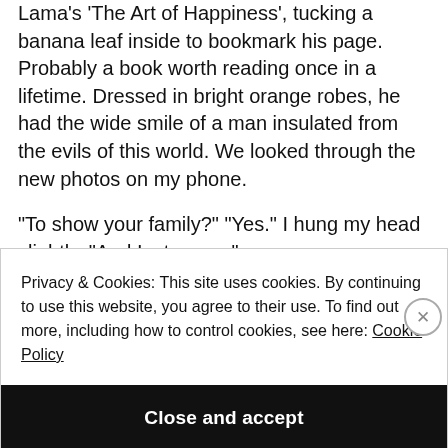Lama's 'The Art of Happiness', tucking a banana leaf inside to bookmark his page. Probably a book worth reading once in a lifetime. Dressed in bright orange robes, he had the wide smile of a man insulated from the evils of this world. We looked through the new photos on my phone.
“To show your family?” “Yes.” I hung my head slightly. “And Instagram.”
Privacy & Cookies: This site uses cookies. By continuing to use this website, you agree to their use. To find out more, including how to control cookies, see here: Cookie Policy
Close and accept